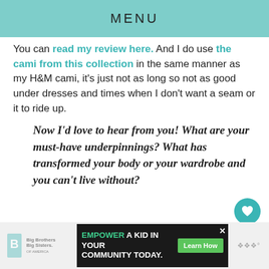MENU
You can read my review here. And I do use the cami from this collection in the same manner as my H&M cami, it's just not as long so not as good under dresses and times when I don't want a seam or it to ride up.
Now I'd love to hear from you! What are your must-have underpinnings? What has transformed your body or your wardrobe and you can't live without?
[Figure (other): Big Brothers Big Sisters of America logo in footer]
[Figure (infographic): Advertisement banner: EMPOWER A KID IN YOUR COMMUNITY TODAY. with Learn How button]